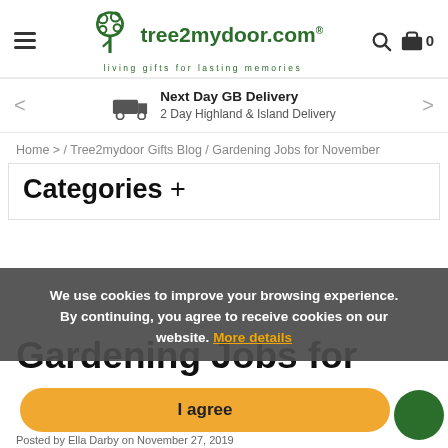[Figure (logo): tree2mydoor.com logo with tree icon and tagline 'living gifts for lasting memories']
Next Day GB Delivery
2 Day Highland & Island Delivery
Home > / Tree2mydoor Gifts Blog / Gardening Jobs for November
Categories +
We use cookies to improve your browsing experience. By continuing, you agree to receive cookies on our website. More details
Gardening Jobs for
I agree
Posted by Ella Darby on November 27, 2019